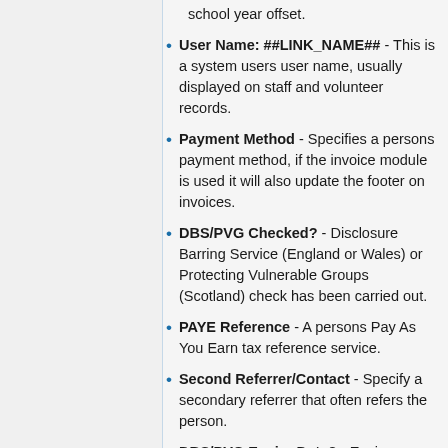User Name: ##LINK_NAME## - This is a system users user name, usually displayed on staff and volunteer records.
Payment Method - Specifies a persons payment method, if the invoice module is used it will also update the footer on invoices.
DBS/PVG Checked? - Disclosure Barring Service (England or Wales) or Protecting Vulnerable Groups (Scotland) check has been carried out.
PAYE Reference - A persons Pay As You Earn tax reference service.
Second Referrer/Contact - Specify a secondary referrer that often refers the person.
DBS/PVG Expiry Date? - Expiry